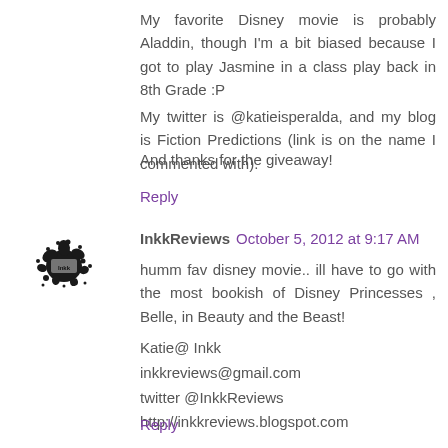My favorite Disney movie is probably Aladdin, though I'm a bit biased because I got to play Jasmine in a class play back in 8th Grade :P
My twitter is @katieisperalda, and my blog is Fiction Predictions (link is on the name I commented with).
And thanks for the giveaway!
Reply
[Figure (illustration): Black ink splat avatar icon for InkkReviews]
InkkReviews October 5, 2012 at 9:17 AM
humm fav disney movie.. ill have to go with the most bookish of Disney Princesses , Belle, in Beauty and the Beast!
Katie@ Inkk
inkkreviews@gmail.com
twitter @InkkReviews
http://inkkreviews.blogspot.com
Reply